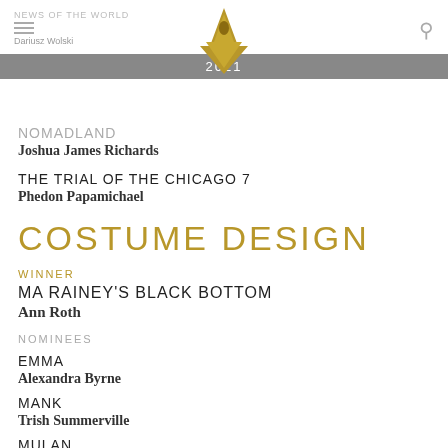NEWS OF THE WORLD | Dariusz Wolski | 2021
NOMADLAND
Joshua James Richards
THE TRIAL OF THE CHICAGO 7
Phedon Papamichael
COSTUME DESIGN
WINNER
MA RAINEY'S BLACK BOTTOM
Ann Roth
NOMINEES
EMMA
Alexandra Byrne
MANK
Trish Summerville
MULAN